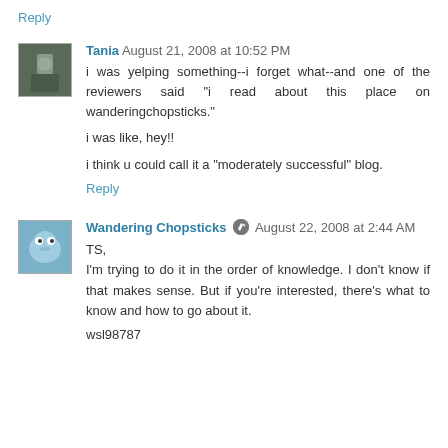Reply
Tania  August 21, 2008 at 10:52 PM
i was yelping something--i forget what--and one of the reviewers said "i read about this place on wanderingchopsticks."

i was like, hey!!

i think u could call it a "moderately successful" blog.
Reply
Wandering Chopsticks  August 22, 2008 at 2:44 AM
TS,
I'm trying to do it in the order of knowledge. I don't know if that makes sense. But if you're interested, there's what to know and how to go about it.

wsl98787